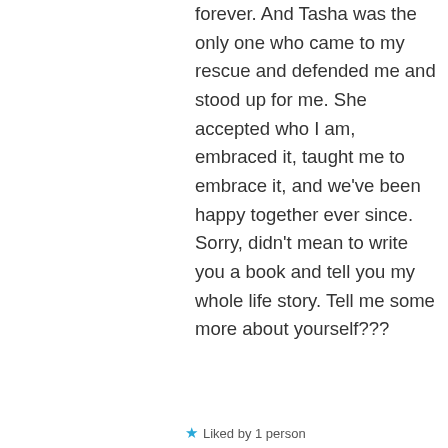forever. And Tasha was the only one who came to my rescue and defended me and stood up for me. She accepted who I am, embraced it, taught me to embrace it, and we've been happy together ever since. Sorry, didn't mean to write you a book and tell you my whole life story. Tell me some more about yourself???
Liked by 1 person